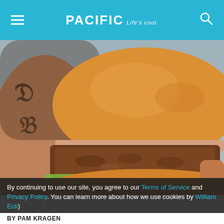PACIFIC Life's cool.
[Figure (photo): A tattooed hand holding a large fried chicken burger with brioche bun, lettuce, sauce, on a blurred outdoor background.]
By continuing to use our site, you agree to our Terms of Service and Privacy Policy. You can learn more about how we use cookies by reviewing our Privacy Policy. Close
BY PAM KRAGEN